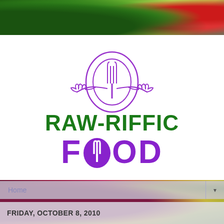[Figure (photo): Top background photo of fresh green vegetables including scallions, herbs, and a red tomato on a wooden surface]
[Figure (logo): Raw-Riffic Food logo: purple outline of a hand holding a plate with fork, green bold text RAW-RIFFIC, purple bold text FOOD with fork replacing the O]
Home
[Figure (photo): Bottom background photo of colorful vegetables including beets, onions, carrots, and greens]
FRIDAY, OCTOBER 8, 2010